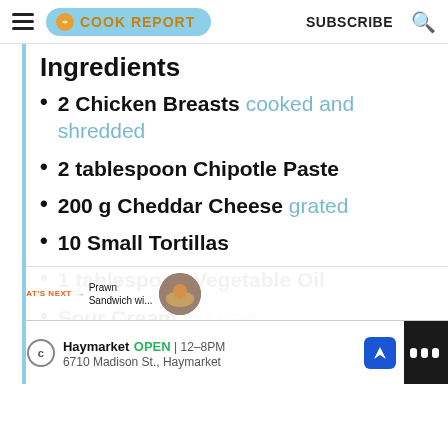COOK REPORT  SUBSCRIBE
Ingredients
2 Chicken Breasts cooked and shredded
2 tablespoon Chipotle Paste
200 g Cheddar Cheese grated
10 Small Tortillas
1 tablespoon Vegetable Oil
Sour Cream to serve
WHAT'S NEXT → Prawn Sandwich wi...
Haymarket OPEN | 12–8PM  6710 Madison St., Haymarket